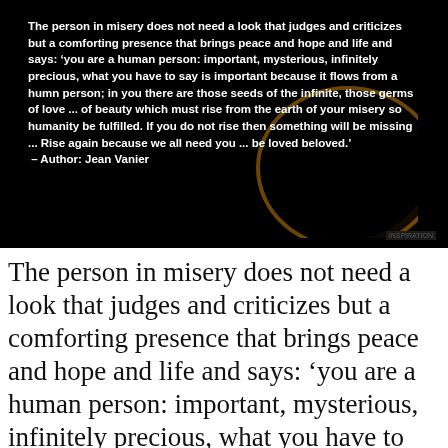[Figure (photo): Black background image with a glowing golden arc/ring on the right side, overlaid with white bold text containing a Jean Vanier quote, and a small watermark in the bottom right corner.]
The person in misery does not need a look that judges and criticizes but a comforting presence that brings peace and hope and life and says: 'you are a human person: important, mysterious, infinitely precious, what you have to say is important because it flows from a humn person; in you there are those seeds of the infinite, those germs of love ... of beauty which must rise from the earth of your misery so humanity be